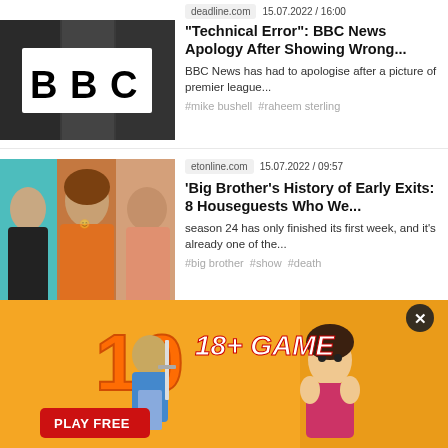[Figure (photo): BBC building exterior with BBC logo]
deadline.com  15.07.2022 / 16:00
“Technical Error”: BBC News Apology After Showing Wrong...
BBC News has had to apologise after a picture of premier league...
#mike bushell #raheem sterling
[Figure (photo): Three people posing for photo - two women and one man]
etonline.com  15.07.2022 / 09:57
'Big Brother's History of Early Exits: 8 Houseguests Who We...
season 24 has only finished its first week, and it's already one of the...
#big brother #show #death
[Figure (photo): Partial view of Alpha Solutions Club business lifestyle event background]
dailystar.co.uk  15.07.2022 / 09:55
[Figure (illustration): 18+ Game advertisement with animated characters, PLAY FREE button and close X button]